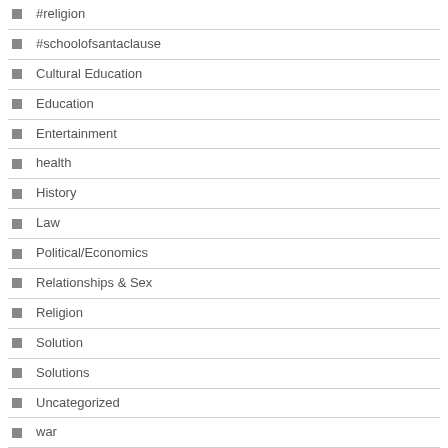#religion
#schoolofsantaclause
Cultural Education
Education
Entertainment
health
History
Law
Political/Economics
Relationships & Sex
Religion
Solution
Solutions
Uncategorized
war